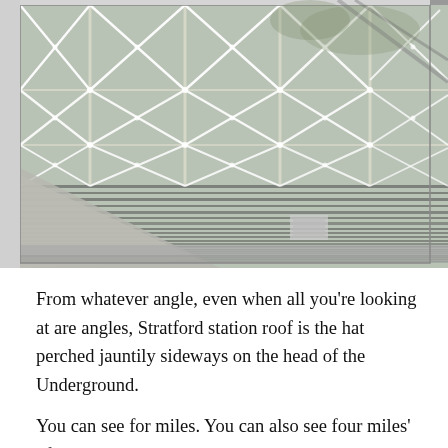[Figure (photo): Close-up photograph of Stratford station roof, showing a large glass facade with diagonal white structural supports forming X and V shapes across multiple glass panels. Railway tracks and a distant platform are visible through the glass. The upper right corner shows the overhanging grey canopy of the station roof.]
From whatever angle, even when all you’re looking at are angles, Stratford station roof is the hat perched jauntily sideways on the head of the Underground.
You can see for miles. You can also see four miles’ of